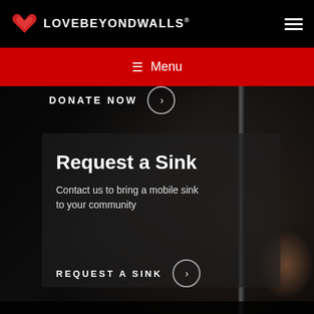LOVEBEYONDWALLS
Menu
DONATE NOW
Request a Sink
Contact us to bring a mobile sink to your community
REQUEST A SINK